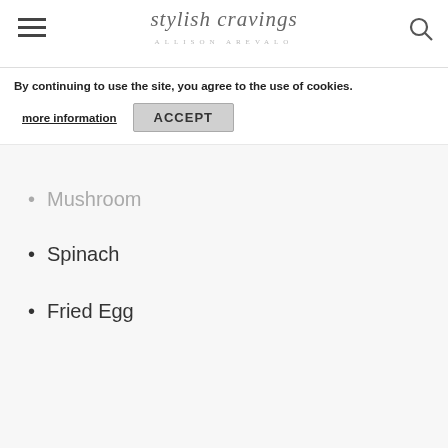stylish cravings
By continuing to use the site, you agree to the use of cookies.
more information  ACCEPT
Mushroom
Spinach
Fried Egg